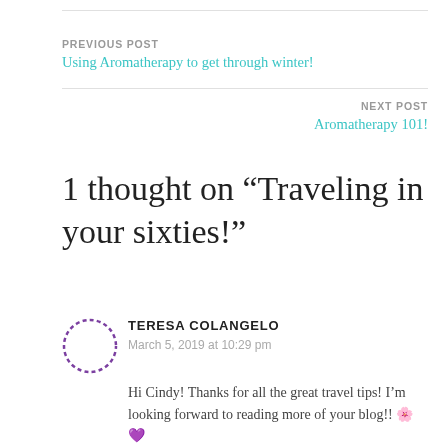PREVIOUS POST
Using Aromatherapy to get through winter!
NEXT POST
Aromatherapy 101!
1 thought on “Traveling in your sixties!”
TERESA COLANGELO
March 5, 2019 at 10:29 pm
Hi Cindy! Thanks for all the great travel tips! I’m looking forward to reading more of your blog!! 🌸💜 🌸